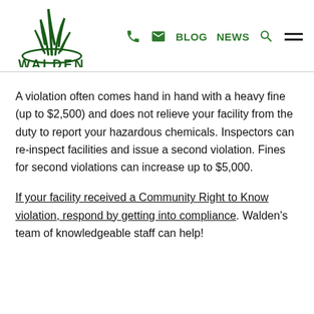[Figure (logo): Walden company logo with green grass/plant illustration and the word WALDEN in bold green letters]
BLOG  NEWS  [phone icon] [email icon] [search icon] [hamburger menu]
A violation often comes hand in hand with a heavy fine (up to $2,500) and does not relieve your facility from the duty to report your hazardous chemicals. Inspectors can re-inspect facilities and issue a second violation. Fines for second violations can increase up to $5,000.
If your facility received a Community Right to Know violation, respond by getting into compliance. Walden's team of knowledgeable staff can help!